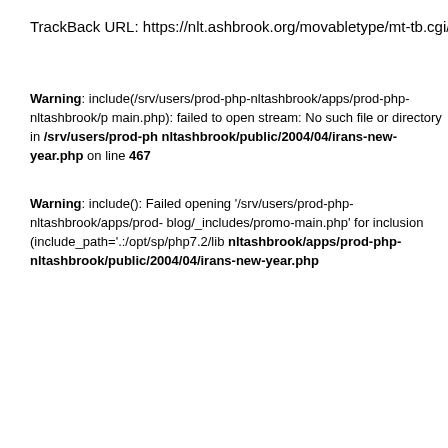TrackBack URL: https://nlt.ashbrook.org/movabletype/mt-tb.cgi/4034
Warning: include(/srv/users/prod-php-nltashbrook/apps/prod-php-nltashbrook/p main.php): failed to open stream: No such file or directory in /srv/users/prod-ph nltashbrook/public/2004/04/irans-new-year.php on line 467
Warning: include(): Failed opening '/srv/users/prod-php-nltashbrook/apps/prod- blog/_includes/promo-main.php' for inclusion (include_path='.:/opt/sp/php7.2/lib nltashbrook/apps/prod-php-nltashbrook/public/2004/04/irans-new-year.php